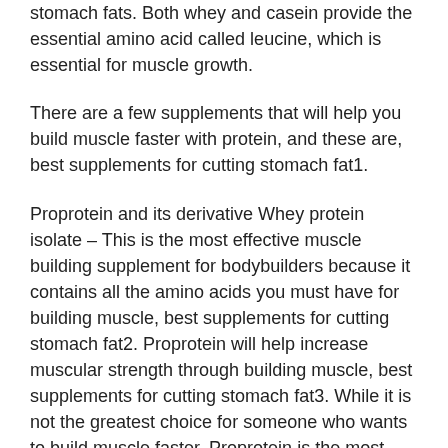stomach fats. Both whey and casein provide the essential amino acid called leucine, which is essential for muscle growth.
There are a few supplements that will help you build muscle faster with protein, and these are, best supplements for cutting stomach fat1.
Proprotein and its derivative Whey protein isolate – This is the most effective muscle building supplement for bodybuilders because it contains all the amino acids you must have for building muscle, best supplements for cutting stomach fat2. Proprotein will help increase muscular strength through building muscle, best supplements for cutting stomach fat3. While it is not the greatest choice for someone who wants to build muscle faster, Proprotein is the most common supplement I will recommend.